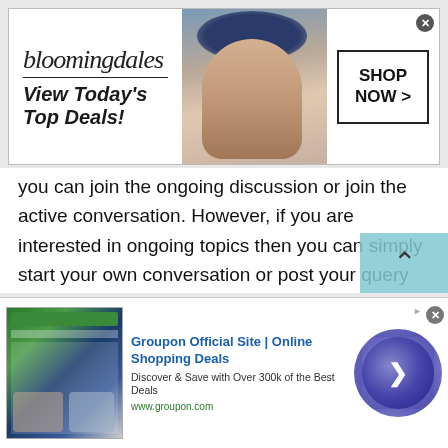[Figure (screenshot): Bloomingdale's advertisement banner: logo, 'View Today's Top Deals!' tagline, model with hat, and 'SHOP NOW >' button]
you can join the ongoing discussion or join the active conversation. However, if you are interested in ongoing topics then you can simply start your own conversation or post your query via free online chat. Yes, you can post your topic of interest and start getting opinions or suggestions from different parts of the world.

Well, this can be much easier and convenient to get a lot of responses with the comfort of your hom...
So, whenever you get bored or need help you can...
[Figure (screenshot): Groupon advertisement: 'Groupon Official Site | Online Shopping Deals', 'Discover & Save with Over 300k of the Best Deals', 'www.groupon.com', with Groupon logo image and purple circle with arrow button]